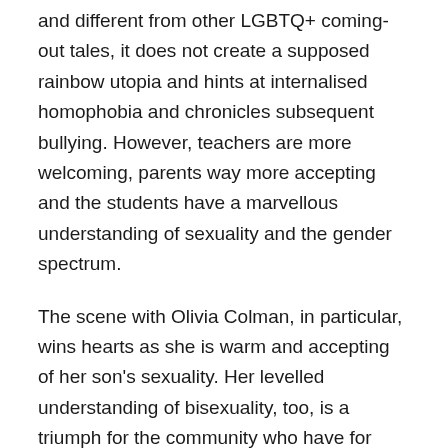and different from other LGBTQ+ coming-out tales, it does not create a supposed rainbow utopia and hints at internalised homophobia and chronicles subsequent bullying. However, teachers are more welcoming, parents way more accepting and the students have a marvellous understanding of sexuality and the gender spectrum.
The scene with Olivia Colman, in particular, wins hearts as she is warm and accepting of her son's sexuality. Her levelled understanding of bisexuality, too, is a triumph for the community who have for quite a long time, been victims of bi-erasure and often trivialised and unnecessarily sexualised in media.
The show begins with the openly gay student Charlie (Joe Locke) who has been severely bullied for his sexual